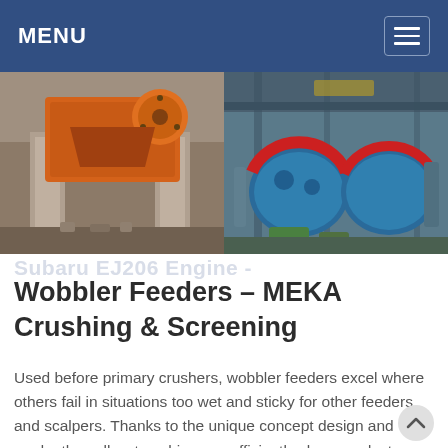MENU
[Figure (photo): Two industrial photos side by side: left shows an orange jaw crusher mounted on concrete pillars outdoors; right shows large blue ball mill drums inside an industrial facility.]
Subaru EJ206 Engine -
Wobbler Feeders – MEKA Crushing & Screening
Used before primary crushers, wobbler feeders excel where others fail in situations too wet and sticky for other feeders and scalpers. Thanks to the unique concept design and mode, they allow to achieve a sufficiently clean product; output products will be suitable for next crushing